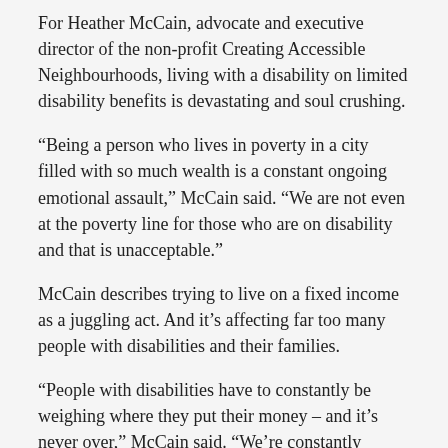For Heather McCain, advocate and executive director of the non-profit Creating Accessible Neighbourhoods, living with a disability on limited disability benefits is devastating and soul crushing.
“Being a person who lives in poverty in a city filled with so much wealth is a constant ongoing emotional assault,” McCain said. “We are not even at the poverty line for those who are on disability and that is unacceptable.”
McCain describes trying to live on a fixed income as a juggling act. And it’s affecting far too many people with disabilities and their families.
“People with disabilities have to constantly be weighing where they put their money – and it’s never over,” McCain said. “We’re constantly having to juggle these choices. And if you are part of a family or if you have other people, oftentimes you’re making decisions that benefit them but put yourself at risk.”
Poverty reduction gets a mention in a few of the major parties’ election platforms.